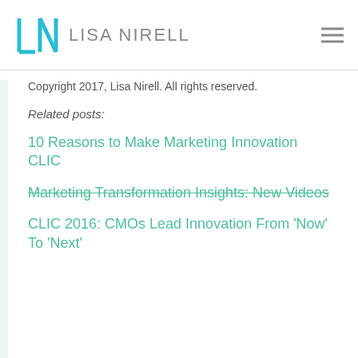LISA NIRELL
Copyright 2017, Lisa Nirell. All rights reserved.
Related posts:
10 Reasons to Make Marketing Innovation CLIC
Marketing Transformation Insights: New Videos
CLIC 2016: CMOs Lead Innovation From 'Now' To 'Next'